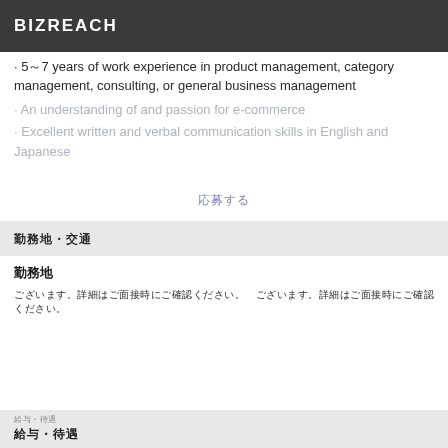BIZREACH
· 5～7 years of work experience in product management, category management, consulting, or general business management
· An understanding of and passion for e‑commerce
· Excellent written and verbal communication skills in English and Japanese
応募する
勤務地・交通
勤務地
ございます。詳細はご面接時にご確認ください。　ございます。詳細はご面接時にご確認ください。
給与・待遇